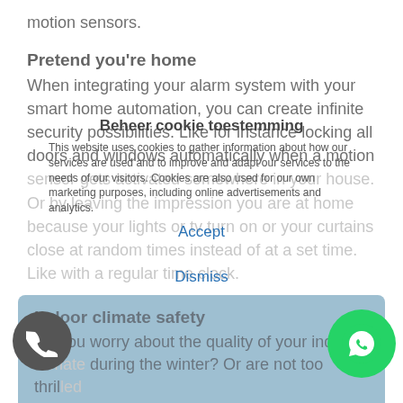motion sensors.
Pretend you're home
When integrating your alarm system with your smart home automation, you can create infinite security possibilities. Like for instance locking all doors and windows automatically when a motion sensor gets activated somewhere in your house. Or by leaving the impression you are at home because your lights or tv turn on or your curtains close at random times instead of at a set time. Like with a regular time clock.
Beheer cookie toestemming
This website uses cookies to gather information about how our services are used and to improve and adapt our services to the needs of our visitors. Cookies are also used for our own marketing purposes, including online advertisements and analytics.
Accept
Dismiss
Indoor climate safety
Do you worry about the quality of your indoor climate during the winter? Or are not too thrilled about the fact your boiler is active all the time, try to keep all rooms nicely heated? It will be a good